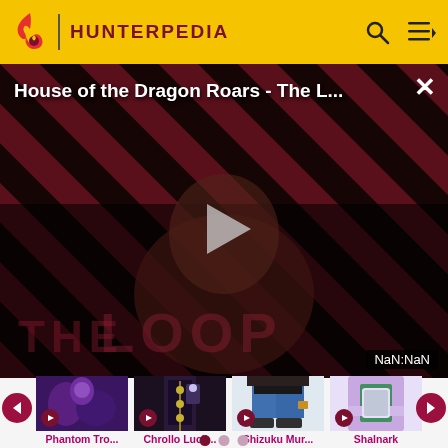HUNTERPEDIA
[Figure (screenshot): Video player showing 'House of the Dragon Roars - The L...' with a dark diagonal stripe background, a play button in the center, 'THE LOOP' text, and a NaN:NaN timer overlay. A figure of a person is visible in the lower portion.]
[Figure (photo): Phantom Tro... thumbnail showing anime characters in purple/dark tones]
Phantom Tro...
[Figure (photo): Chrollo Lucil... thumbnail showing a character in dark coat]
Chrollo Lucil...
[Figure (photo): Shizuku Mur... thumbnail showing a character in blue jeans]
Shizuku Mur...
[Figure (photo): Shalnark thumbnail showing a character in purple outfit]
Shalnark